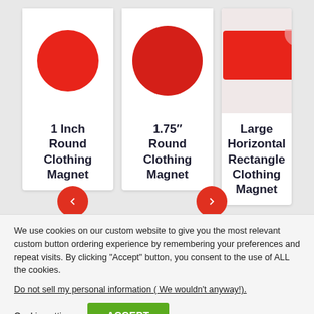[Figure (screenshot): Three product cards showing clothing magnets: 1 Inch Round Clothing Magnet, 1.75 inch Round Clothing Magnet, Large Horizontal Rectangle Clothing Magnet. Each card shows a red shape image and bold text label. Left and right navigation arrows (red circles with white arrows) are overlaid on the cards area.]
We use cookies on our custom website to give you the most relevant custom button ordering experience by remembering your preferences and repeat visits. By clicking “Accept” button, you consent to the use of ALL the cookies.
Do not sell my personal information ( We wouldn't anyway!).
Cookie settings
ACCEPT